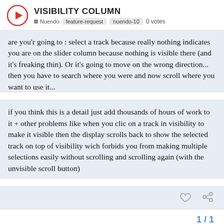VISIBILITY COLUMN
Nuendo  feature-request  nuendo-10  0 votes
are you'r going to : select a track because really nothing indicates you are on the slider column because nothing is visible there (and it's freaking thin). Or it's going to move on the wrong direction... then you have to search where you were and now scroll where you want to use it...
if you think this is a detail just add thousands of hours of work to it + other problems like when you clic on a track in visibility to make it visible then the display scrolls back to show the selected track on top of visibility wich forbids you from making multiple selections easily without scrolling and scrolling again (with the unvisible scroll button)
1 / 1